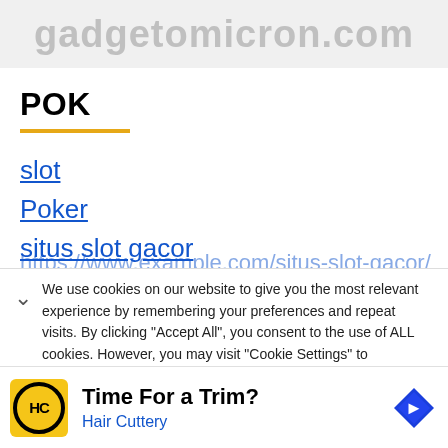gadgetomicron.com
POK
slot
Poker
situs slot gacor
situs judi slot gacor
Situs Slot Gacor
We use cookies on our website to give you the most relevant experience by remembering your preferences and repeat visits. By clicking "Accept All", you consent to the use of ALL cookies. However, you may visit "Cookie Settings" to
[Figure (advertisement): Ad banner for Hair Cuttery: yellow square logo with HC initials in black circle, text 'Time For a Trim?' and 'Hair Cuttery' in blue, navigation arrow icon on right]